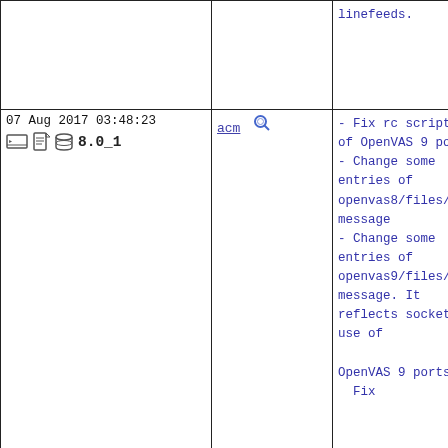| Date/Version | Committer | Changes |
| --- | --- | --- |
|  |  | linefeeds. |
| 07 Aug 2017 03:48:23
8.0_1 | acm | - Fix rc scripts of OpenVAS 9 ports
- Change some entries of openvas8/files/pkg-message
- Change some entries of openvas9/files/pkg-message. It reflects socket use of

OpenVAS 9 ports.
Fix |